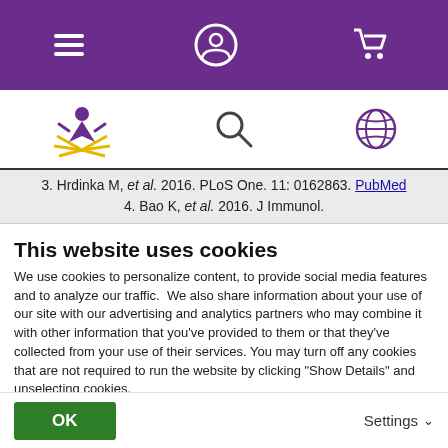[Figure (screenshot): Purple navigation bar with hamburger menu, user/account icon, and shopping cart icon in white on purple background]
[Figure (screenshot): Secondary navigation bar with a figure/person logo with sunburst (yellow and purple), a search magnifier icon, and a globe/language icon]
3. Hrdinka M, et al. 2016. PLoS One. 11: 0162863. PubMed
4. Bao K, et al. 2016. J Immunol.
This website uses cookies
We use cookies to personalize content, to provide social media features and to analyze our traffic.  We also share information about your use of our site with our advertising and analytics partners who may combine it with other information that you've provided to them or that they've collected from your use of their services. You may turn off any cookies that are not required to run the website by clicking “Show Details” and unselecting cookies.
For more information on how we handle your personal data, view our Privacy Policy.
OK
Settings